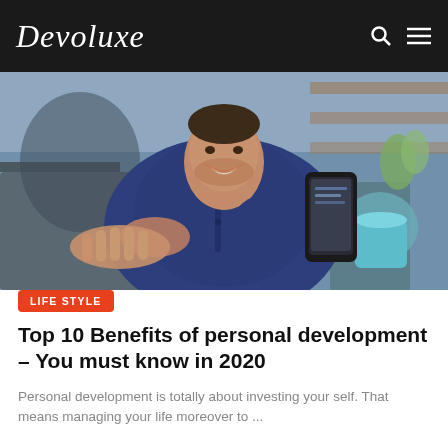Devoluxe
[Figure (photo): Man in dark blue shirt smiling while looking at smartphone, with laptop open in front of him, indoor background]
LIFE STYLE
Top 10 Benefits of personal development – You must know in 2020
Personal development is totally about investing your self. That means managing your life moreover to ...